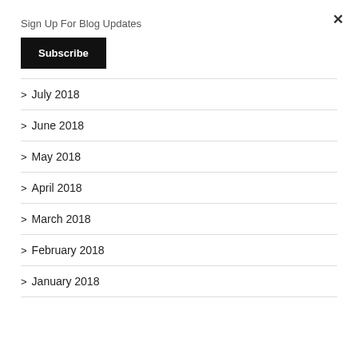×
Sign Up For Blog Updates
Subscribe
> July 2018
> June 2018
> May 2018
> April 2018
> March 2018
> February 2018
> January 2018